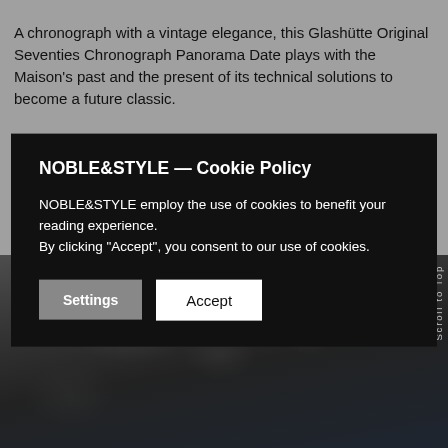A chronograph with a vintage elegance, this Glashütte Original Seventies Chronograph Panorama Date plays with the Maison's past and the present of its technical solutions to become a future classic.
[Figure (screenshot): Cookie consent modal overlay on a dark background with title 'NOBLE&STYLE — Cookie Policy', body text about cookie usage, and two buttons: 'Settings' (gray) and 'Accept' (white)]
[Figure (photo): Close-up photograph of a dark, rough rocky surface (volcanic or stone texture) with a blurred sky/background. Vertical text 'Scroll to Top' on right edge.]